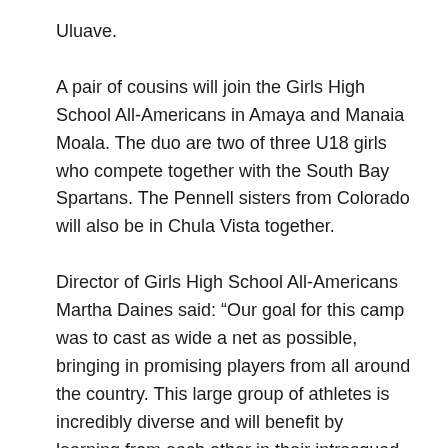Uluave.
A pair of cousins will join the Girls High School All-Americans in Amaya and Manaia Moala. The duo are two of three U18 girls who compete together with the South Bay Spartans. The Pennell sisters from Colorado will also be in Chula Vista together.
Director of Girls High School All-Americans Martha Daines said: “Our goal for this camp was to cast as wide a net as possible, bringing in promising players from all around the country. This large group of athletes is incredibly diverse and will benefit by learning from each other in their intrasquad matches. For many players this will be the first national camp they’ve attended. I’m looking forward to seeing how they all respond to the challenge and how much